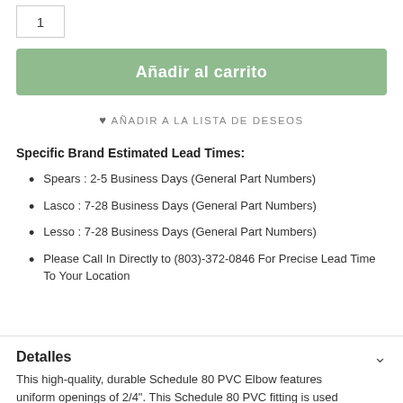1
Añadir al carrito
♥ AÑADIR A LA LISTA DE DESEOS
Specific Brand Estimated Lead Times:
Spears : 2-5 Business Days (General Part Numbers)
Lasco : 7-28 Business Days (General Part Numbers)
Lesso : 7-28 Business Days (General Part Numbers)
Please Call In Directly to (803)-372-0846 For Precise Lead Time To Your Location
Detalles
This high-quality, durable Schedule 80 PVC Elbow features uniform openings of 2/4". This Schedule 80 PVC fitting is used